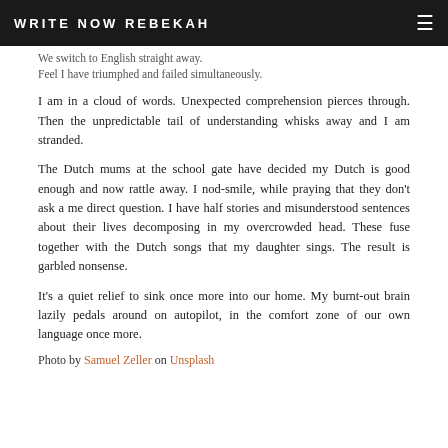WRITE NOW REBEKAH
We switch to English straight away.
Feel I have triumphed and failed simultaneously.
I am in a cloud of words. Unexpected comprehension pierces through. Then the unpredictable tail of understanding whisks away and I am stranded.
The Dutch mums at the school gate have decided my Dutch is good enough and now rattle away. I nod-smile, while praying that they don't ask a me direct question. I have half stories and misunderstood sentences about their lives decomposing in my overcrowded head. These fuse together with the Dutch songs that my daughter sings. The result is garbled nonsense.
It's a quiet relief to sink once more into our home. My burnt-out brain lazily pedals around on autopilot, in the comfort zone of our own language once more.
Photo by Samuel Zeller on Unsplash